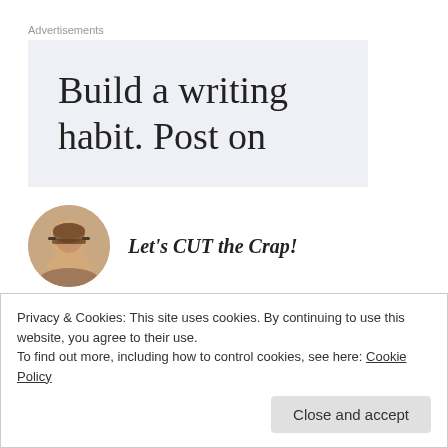Advertisements
[Figure (other): Advertisement banner with light blue-gray background showing text 'Build a writing habit. Post on']
[Figure (photo): Circular avatar photo of a woman with short hair and glasses]
Let's CUT the Crap!
APRIL 4, 2012 AT 10:49 PM
Privacy & Cookies: This site uses cookies. By continuing to use this website, you agree to their use.
To find out more, including how to control cookies, see here: Cookie Policy
Close and accept